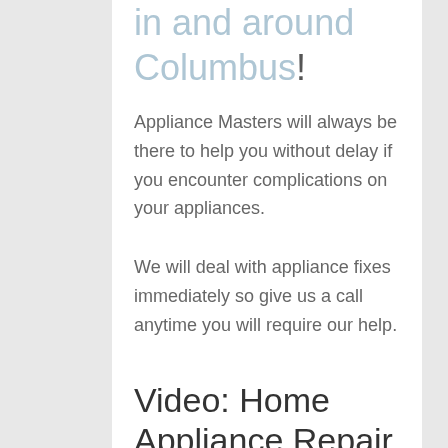in and around Columbus!
Appliance Masters will always be there to help you without delay if you encounter complications on your appliances.
We will deal with appliance fixes immediately so give us a call anytime you will require our help.
Video: Home Appliance Repair in Pleasantville